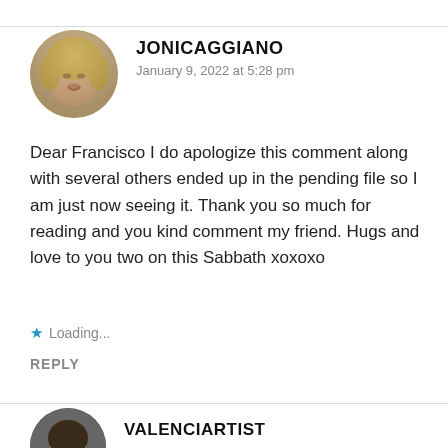[Figure (photo): Circular avatar photo of a woman with blonde hair]
JONICAGGIANO
January 9, 2022 at 5:28 pm
Dear Francisco I do apologize this comment along with several others ended up in the pending file so I am just now seeing it. Thank you so much for reading and you kind comment my friend. Hugs and love to you two on this Sabbath xoxoxo
Loading...
REPLY
[Figure (photo): Circular avatar photo, partially visible at bottom]
VALENCIARTIST